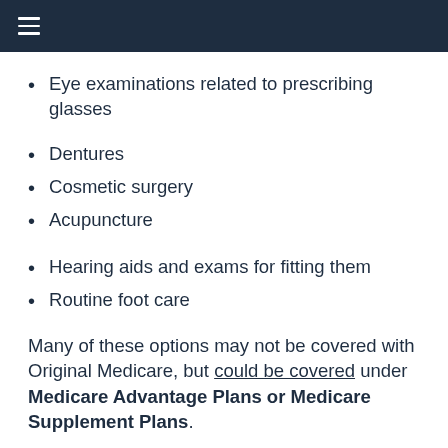≡
Eye examinations related to prescribing glasses
Dentures
Cosmetic surgery
Acupuncture
Hearing aids and exams for fitting them
Routine foot care
Many of these options may not be covered with Original Medicare, but could be covered under Medicare Advantage Plans or Medicare Supplement Plans.